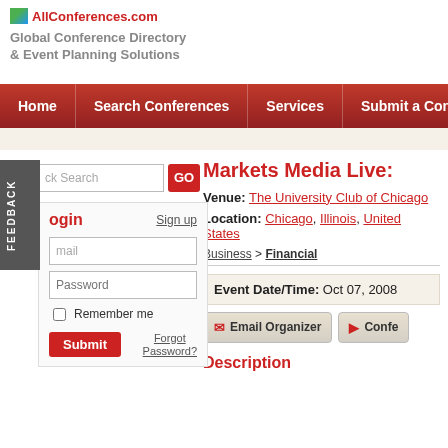AllConferences.com — Global Conference Directory & Event Planning Solutions
Home | Search Conferences | Services | Submit a Conference
Markets Media Live:
Venue: The University Club of Chicago
Location: Chicago, Illinois, United States
Business > Financial
Event Date/Time: Oct 07, 2008
Email Organizer | Confe...
Description